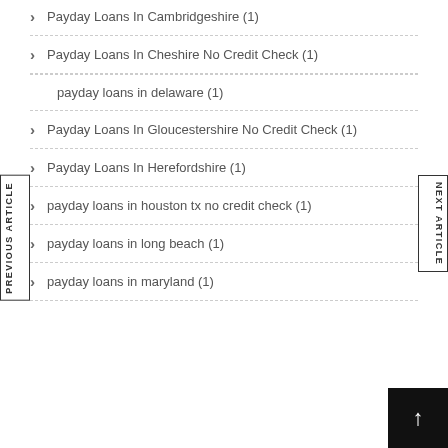Payday Loans In Cambridgeshire (1)
Payday Loans In Cheshire No Credit Check (1)
payday loans in delaware (1)
Payday Loans In Gloucestershire No Credit Check (1)
Payday Loans In Herefordshire (1)
payday loans in houston tx no credit check (1)
payday loans in long beach (1)
payday loans in maryland (1)